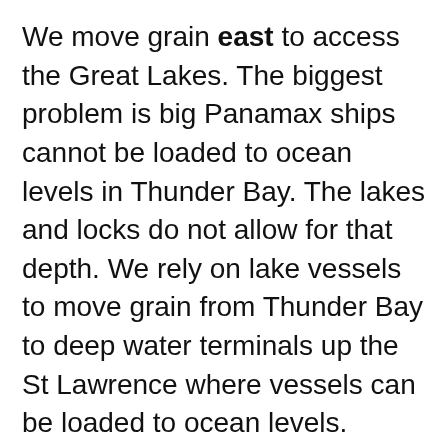We move grain east to access the Great Lakes. The biggest problem is big Panamax ships cannot be loaded to ocean levels in Thunder Bay. The lakes and locks do not allow for that depth. We rely on lake vessels to move grain from Thunder Bay to deep water terminals up the St Lawrence where vessels can be loaded to ocean levels. Trucking directly to the seaway is inefficient and some terminal only have water access. That also means they don't have rail access.
As beautiful as those mountains to the west are, they pose a huge challenge to our country. Efficient routes to move goods through them are limited and two companies dominating the rail passes. So even with more